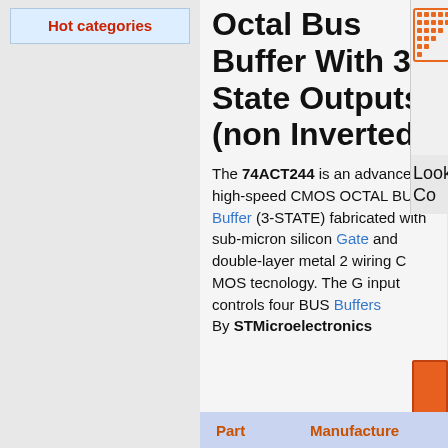Hot categories
Octal Bus Buffer With 3 State Outputs (non Inverted)
The 74ACT244 is an advanced high-speed CMOS OCTAL BUS Buffer (3-STATE) fabricated with sub-micron silicon Gate and double-layer metal 2 wiring C MOS tecnology. The G input controls four BUS Buffers By STMicroelectronics
[Figure (logo): Orange dot-grid logo in top right corner]
Lookin Co
[Figure (other): Orange rectangular button/banner]
| Part | Manufacture |
| --- | --- |